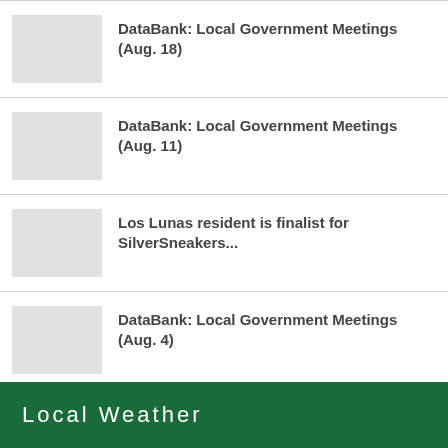DataBank: Local Government Meetings (Aug. 18)
DataBank: Local Government Meetings (Aug. 11)
Los Lunas resident is finalist for SilverSneakers...
DataBank: Local Government Meetings (Aug. 4)
Back-to-School tax holiday is this weekend
Local Weather